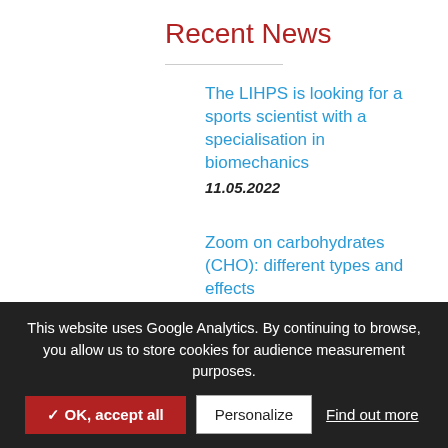Recent News
The LIHPS is looking for a sports scientist with a specialisation in biomechanics
11.05.2022
Zoom on carbohydrates (CHO): different types and effects
25.04.2022
Protein and muscle conditioning in athletes – Prof Luc van Loon – 27 April
12.04.2022
This website uses Google Analytics. By continuing to browse, you allow us to store cookies for audience measurement purposes.